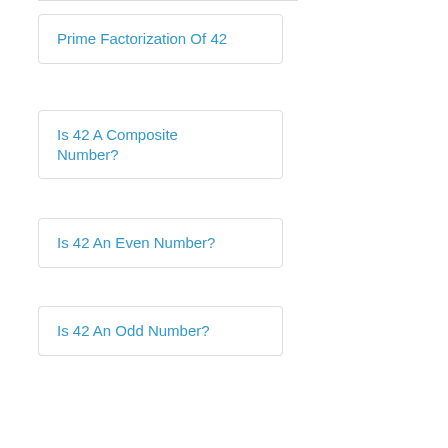Prime Factorization Of 42
Is 42 A Composite Number?
Is 42 An Even Number?
Is 42 An Odd Number?
Prime Factors Of 42
Cubed Root Of 42?
About Number 4. Four is linear. It is the first composite number and thus the first non-prime number after one. The peculiarity of the four is that both 2 + 2 = 4 and 2 * 2